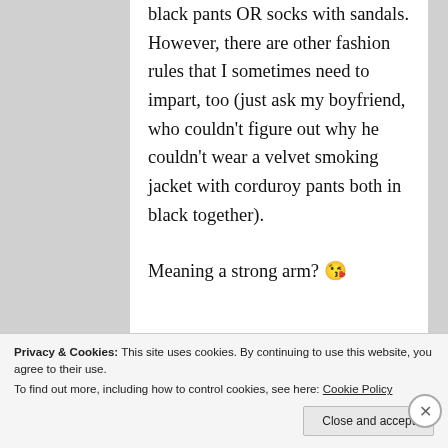black pants OR socks with sandals. However, there are other fashion rules that I sometimes need to impart, too (just ask my boyfriend, who couldn't figure out why he couldn't wear a velvet smoking jacket with corduroy pants both in black together).
Meaning a strong arm? 😘
Privacy & Cookies: This site uses cookies. By continuing to use this website, you agree to their use. To find out more, including how to control cookies, see here: Cookie Policy
Close and accept